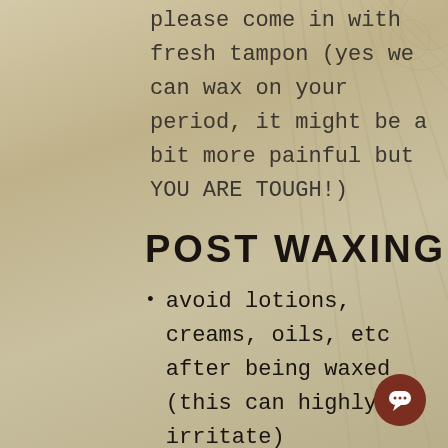please come in with fresh tampon (yes we can wax on your period, it might be a bit more painful but YOU ARE TOUGH!)
POST WAXING
avoid lotions, creams, oils, etc after being waxed (this can highly irritate)
wear loose fitting pants or go commando